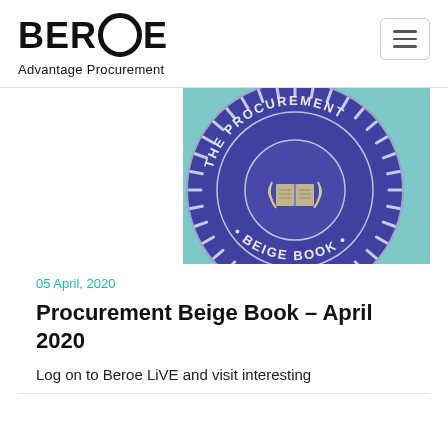BEROE Advantage Procurement
[Figure (logo): The Procurement Beige Book circular badge/seal on a teal background]
05 April, 2020
Procurement Beige Book - April 2020
Log on to Beroe LiVE and visit interesting